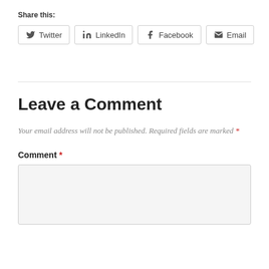Share this:
Twitter | LinkedIn | Facebook | Email
Leave a Comment
Your email address will not be published. Required fields are marked *
Comment *